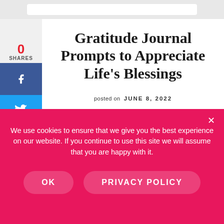Gratitude Journal Prompts to Appreciate Life's Blessings
posted on  JUNE 8, 2022
Gratitude Journal Prompts to Help You
We use cookies to ensure that we give you the best experience on our website. If you continue to use this site we will assume that you are happy with it.
OK   PRIVACY POLICY